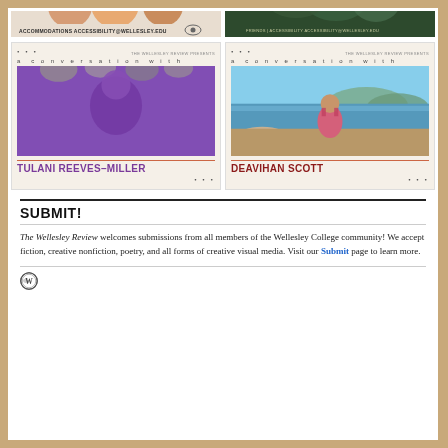[Figure (illustration): Left promotional banner: beige/tan background with circular graphic elements at top, text 'ACCOMMODATIONS ACCESSIBILITY@WELLESLEY.EDU' at bottom with an eye icon]
[Figure (illustration): Right promotional banner: dark green background with light-colored geometric/leaf shapes and text 'FRIENDS | ACCESSIBILITY ACCESSIBILITY@WELLESLEY.EDU' at bottom]
[Figure (illustration): Left conversation card: 'THE WELLESLEY REVIEW PRESENTS / a conversation with' above a purple-toned portrait photo, name 'TULANI REEVES-MILLER' in purple bold text below]
[Figure (photo): Right conversation card: 'THE WELLESLEY REVIEW PRESENTS / a conversation with' above a photo of a woman in a pink dress standing outdoors by the sea, name 'DEAVIHAN SCOTT' in dark red bold text below]
SUBMIT!
The Wellesley Review welcomes submissions from all members of the Wellesley College community! We accept fiction, creative nonfiction, poetry, and all forms of creative visual media. Visit our Submit page to learn more.